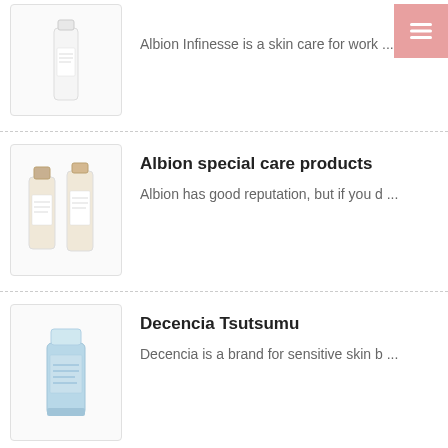Albion Infinesse is a skin care for work ...
Albion special care products
Albion has good reputation, but if you d ...
Decencia Tsutsumu
Decencia is a brand for sensitive skin b ...
THREE
THREE by THREE is a skin care line, new ...